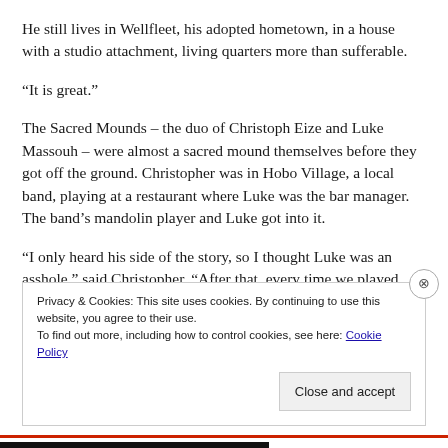He still lives in Wellfleet, his adopted hometown, in a house with a studio attachment, living quarters more than sufferable.
“It is great.”
The Sacred Mounds – the duo of Christoph Eize and Luke Massouh – were almost a sacred mound themselves before they got off the ground. Christopher was in Hobo Village, a local band, playing at a restaurant where Luke was the bar manager. The band’s mandolin player and Luke got into it.
“I only heard his side of the story, so I thought Luke was an asshole,” said Christopher. “After that, every time we played
Privacy & Cookies: This site uses cookies. By continuing to use this website, you agree to their use.
To find out more, including how to control cookies, see here: Cookie Policy
Close and accept